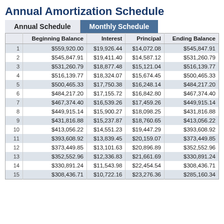Annual Amortization Schedule
|  | Beginning Balance | Interest | Principal | Ending Balance |
| --- | --- | --- | --- | --- |
| 1 | $559,920.00 | $19,926.44 | $14,072.08 | $545,847.91 |
| 2 | $545,847.91 | $19,411.40 | $14,587.12 | $531,260.79 |
| 3 | $531,260.79 | $18,877.48 | $15,121.04 | $516,139.77 |
| 4 | $516,139.77 | $18,324.07 | $15,674.45 | $500,465.33 |
| 5 | $500,465.33 | $17,750.38 | $16,248.14 | $484,217.20 |
| 6 | $484,217.20 | $17,155.72 | $16,842.80 | $467,374.40 |
| 7 | $467,374.40 | $16,539.26 | $17,459.26 | $449,915.14 |
| 8 | $449,915.14 | $15,900.27 | $18,098.25 | $431,816.88 |
| 9 | $431,816.88 | $15,237.87 | $18,760.65 | $413,056.22 |
| 10 | $413,056.22 | $14,551.23 | $19,447.29 | $393,608.92 |
| 11 | $393,608.92 | $13,839.45 | $20,159.07 | $373,449.85 |
| 12 | $373,449.85 | $13,101.63 | $20,896.89 | $352,552.96 |
| 13 | $352,552.96 | $12,336.83 | $21,661.69 | $330,891.24 |
| 14 | $330,891.24 | $11,543.98 | $22,454.54 | $308,436.71 |
| 15 | $308,436.71 | $10,722.16 | $23,276.36 | $285,160.34 |